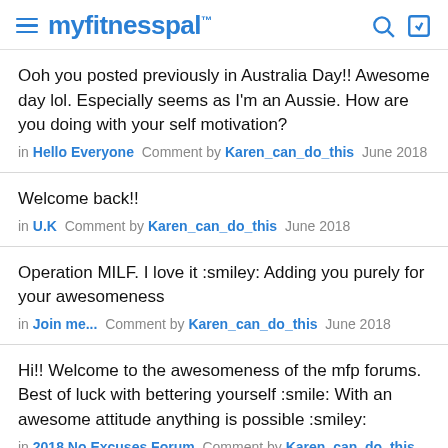myfitnesspal
Ooh you posted previously in Australia Day!! Awesome day lol. Especially seems as I'm an Aussie. How are you doing with your self motivation?
in Hello Everyone  Comment by Karen_can_do_this  June 2018
Welcome back!!
in U.K  Comment by Karen_can_do_this  June 2018
Operation MILF. I love it :smiley: Adding you purely for your awesomeness
in Join me...  Comment by Karen_can_do_this  June 2018
Hi!! Welcome to the awesomeness of the mfp forums. Best of luck with bettering yourself :smile: With an awesome attitude anything is possible :smiley:
in 2018 No Excuses Forum  Comment by Karen_can_do_this  June 2018